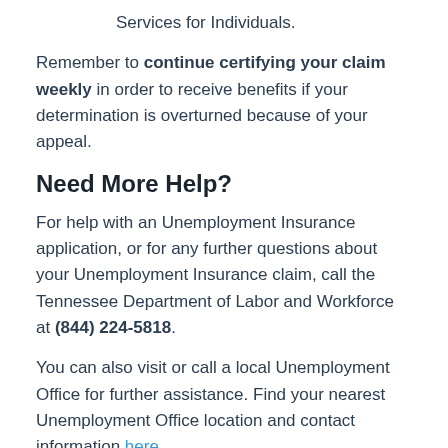Services for Individuals.
Remember to continue certifying your claim weekly in order to receive benefits if your determination is overturned because of your appeal.
Need More Help?
For help with an Unemployment Insurance application, or for any further questions about your Unemployment Insurance claim, call the Tennessee Department of Labor and Workforce at (844) 224-5818.
You can also visit or call a local Unemployment Office for further assistance. Find your nearest Unemployment Office location and contact information here.
The Tennessee Department of Labor customer service telephone line and local Unemployment Offices are available Monday through Friday from 8:00 AM until